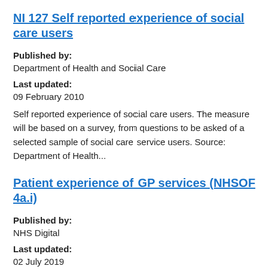NI 127 Self reported experience of social care users
Published by:
Department of Health and Social Care
Last updated:
09 February 2010
Self reported experience of social care users. The measure will be based on a survey, from questions to be asked of a selected sample of social care service users. Source: Department of Health...
Patient experience of GP services (NHSOF 4a.i)
Published by:
NHS Digital
Last updated:
02 July 2019